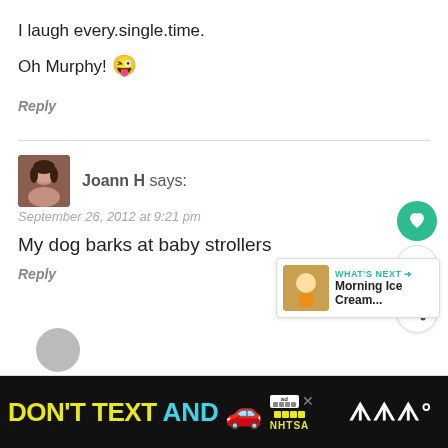I laugh every.single.time.
Oh Murphy! 😜
Reply
Joann H says:
September 26, 2012 at 9:21 pm
My dog barks at baby strollers
Reply
[Figure (infographic): What's Next widget showing Morning Ice Cream... with a thumbnail image]
[Figure (infographic): Ad banner: DON'T TEXT AND [car emoji] ad with NHTSA logo on black background]